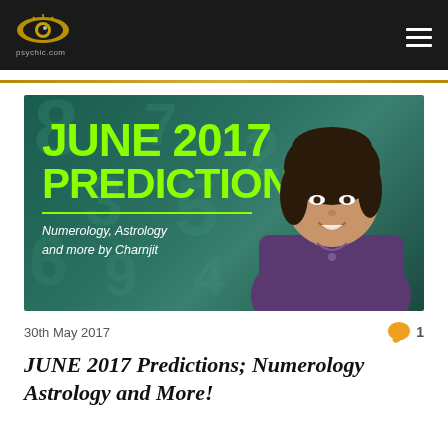psychic.com navigation header with logo and menu
[Figure (photo): Banner image for June 2017 Predictions with teal number-themed background and text 'JUNE 2017 PREDICTIONS - Numerology, Astrology and more by Charnjit' with woman smiling on the right]
30th May 2017
1 comment
JUNE 2017 Predictions; Numerology Astrology and More!